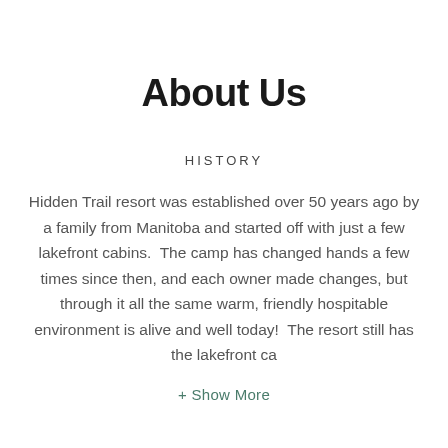About Us
HISTORY
Hidden Trail resort was established over 50 years ago by a family from Manitoba and started off with just a few lakefront cabins.  The camp has changed hands a few times since then, and each owner made changes, but through it all the same warm, friendly hospitable environment is alive and well today!  The resort still has the lakefront ca
+ Show More